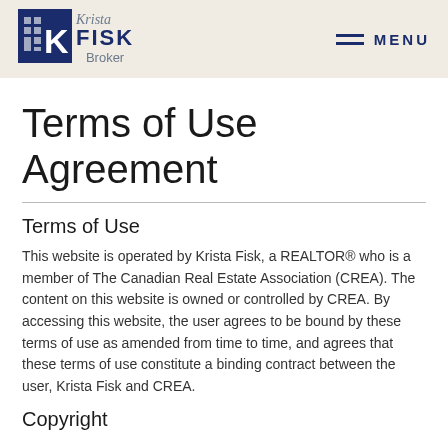Krista Fisk Broker | MENU
Terms of Use Agreement
Terms of Use
This website is operated by Krista Fisk, a REALTOR® who is a member of The Canadian Real Estate Association (CREA). The content on this website is owned or controlled by CREA. By accessing this website, the user agrees to be bound by these terms of use as amended from time to time, and agrees that these terms of use constitute a binding contract between the user, Krista Fisk and CREA.
Copyright